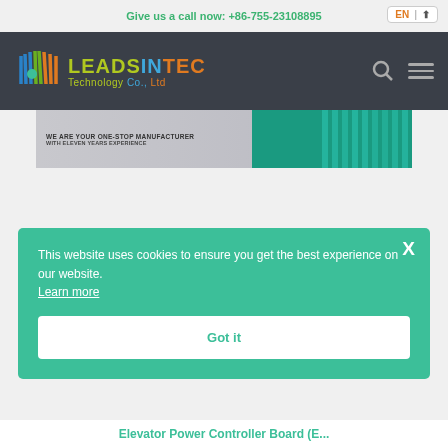Give us a call now: +86-755-23108895
[Figure (logo): LEADSINTEC Technology Co., Ltd logo with colorful arrow icon]
[Figure (photo): Hero banner showing electronics/PCB components with text WE ARE YOUR ONE-STOP MANUFACTURER WITH ELEVEN YEARS EXPERIENCE]
This website uses cookies to ensure you get the best experience on our website. Learn more
ELEVATOR POWER CONTROLLER BOARD (OEM ONLY)
Got it
Elevator Power Controller Board (E...